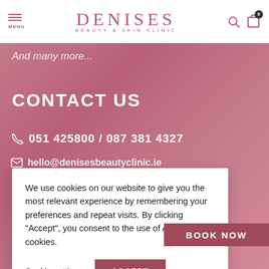DENISES BEAUTY & SKIN CLINIC
And many more...
CONTACT US
051 425800 / 087 381 4327
hello@denisesbeautyclinic.ie
We use cookies on our website to give you the most relevant experience by remembering your preferences and repeat visits. By clicking "Accept", you consent to the use of ALL the cookies.
Cookie settings
ACCEPT
BOOK NOW